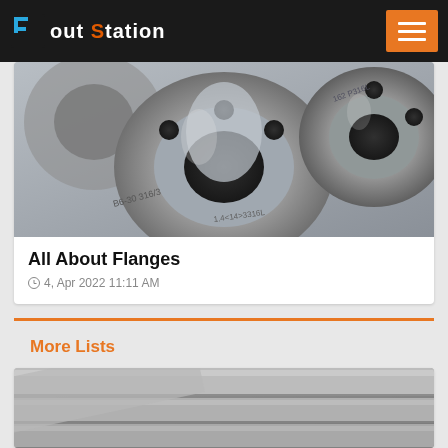Pout Station
[Figure (photo): Close-up photo of stainless steel flanges with markings including 316/3 and other specifications]
All About Flanges
4, Apr 2022 11:11 AM
More Lists
[Figure (photo): Black and white photo of stainless steel round bars/rods stacked together]